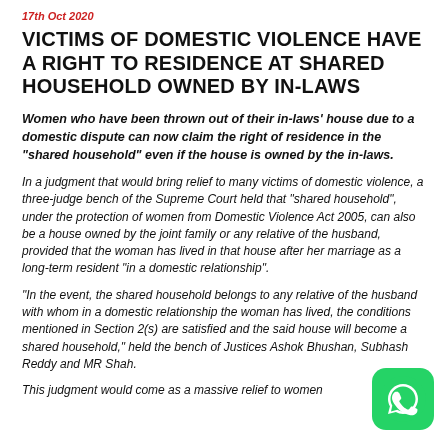17th Oct 2020
VICTIMS OF DOMESTIC VIOLENCE HAVE A RIGHT TO RESIDENCE AT SHARED HOUSEHOLD OWNED BY IN-LAWS
Women who have been thrown out of their in-laws' house due to a domestic dispute can now claim the right of residence in the "shared household" even if the house is owned by the in-laws.
In a judgment that would bring relief to many victims of domestic violence, a three-judge bench of the Supreme Court held that "shared household", under the protection of women from Domestic Violence Act 2005, can also be a house owned by the joint family or any relative of the husband, provided that the woman has lived in that house after her marriage as a long-term resident "in a domestic relationship".
"In the event, the shared household belongs to any relative of the husband with whom in a domestic relationship the woman has lived, the conditions mentioned in Section 2(s) are satisfied and the said house will become a shared household," held the bench of Justices Ashok Bhushan, Subhash Reddy and MR Shah.
This judgment would come as a massive relief to women